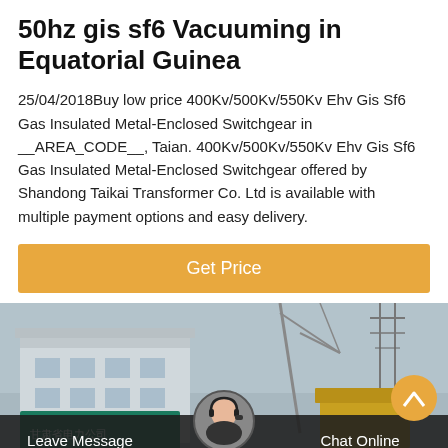50hz gis sf6 Vacuuming in Equatorial Guinea
25/04/2018Buy low price 400Kv/500Kv/550Kv Ehv Gis Sf6 Gas Insulated Metal-Enclosed Switchgear in __AREA_CODE__, Taian. 400Kv/500Kv/550Kv Ehv Gis Sf6 Gas Insulated Metal-Enclosed Switchgear offered by Shandong Taikai Transformer Co. Ltd is available with multiple payment options and easy delivery.
[Figure (other): Orange 'Get Price' button]
[Figure (photo): Outdoor industrial facility photo showing a building with Chinese signage (甘肃省电力公司) and electrical infrastructure, with a bottom bar containing Leave Message and Chat Online options and a customer service avatar.]